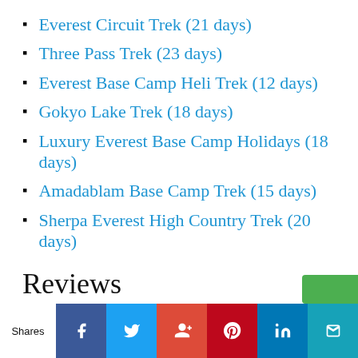Everest Circuit Trek (21 days)
Three Pass Trek (23 days)
Everest Base Camp Heli Trek (12 days)
Gokyo Lake Trek (18 days)
Luxury Everest Base Camp Holidays (18 days)
Amadablam Base Camp Trek (15 days)
Sherpa Everest High Country Trek (20 days)
Reviews
The services of Mountain Monarch are exemplary. It has received 377 excellent reviews among 398 reviews in Trip Advisor. This suggests that the company is one of the best in the market to provide treks to Everest base camp Nepal. If you want to know more about it